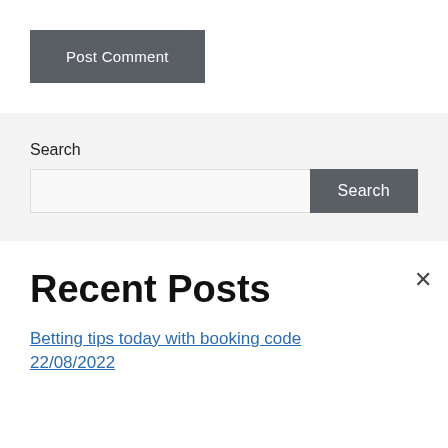Post Comment
Search
Search
Recent Posts
Betting tips today with booking code 22/08/2022